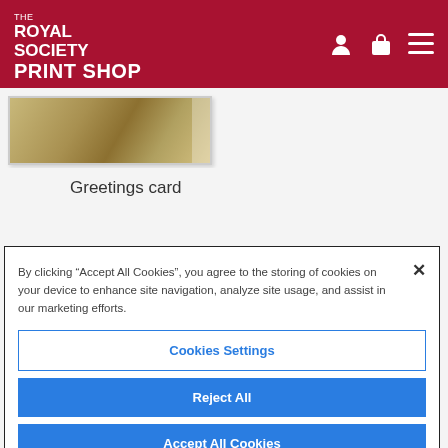THE ROYAL SOCIETY PRINT SHOP
[Figure (photo): Partial product image of a greetings card with landscape/painting artwork]
Greetings card
By clicking “Accept All Cookies”, you agree to the storing of cookies on your device to enhance site navigation, analyze site usage, and assist in our marketing efforts.
Cookies Settings
Reject All
Accept All Cookies